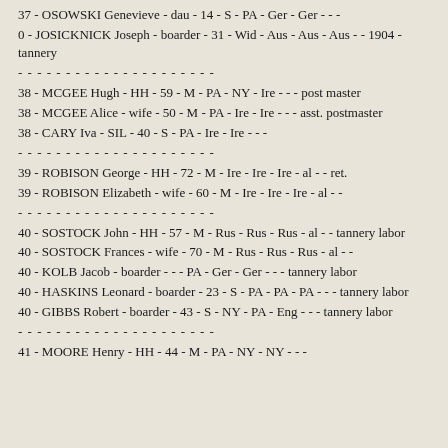37 - OSOWSKI Genevieve - dau - 14 - S - PA - Ger - Ger - - -
0 - JOSICKNICK Joseph - boarder - 31 - Wid - Aus - Aus - Aus - - 1904 - tannery
38 - MCGEE Hugh - HH - 59 - M - PA - NY - Ire - - - post master
38 - MCGEE Alice - wife - 50 - M - PA - Ire - Ire - - - asst. postmaster
38 - CARY Iva - SIL - 40 - S - PA - Ire - Ire - - -
39 - ROBISON George - HH - 72 - M - Ire - Ire - Ire - al - - ret.
39 - ROBISON Elizabeth - wife - 60 - M - Ire - Ire - Ire - al - -
40 - SOSTOCK John - HH - 57 - M - Rus - Rus - Rus - al - - tannery labor
40 - SOSTOCK Frances - wife - 70 - M - Rus - Rus - Rus - al - -
40 - KOLB Jacob - boarder - - - PA - Ger - Ger - - - tannery labor
40 - HASKINS Leonard - boarder - 23 - S - PA - PA - PA - - - tannery labor
40 - GIBBS Robert - boarder - 43 - S - NY - PA - Eng - - - tannery labor
41 - MOORE Henry - HH - 44 - M - PA - NY - NY - - -